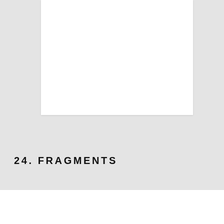[Figure (other): White inset page on gray background, partially visible at top of page]
24. FRAGMENTS